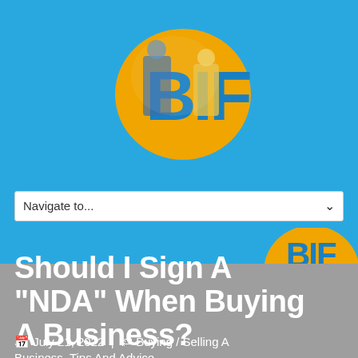[Figure (logo): BIF logo — circular gold/yellow shape with large stylized blue letters 'BIF' and two business people images inside, on a blue background]
Navigate to...
[Figure (photo): Partial BIF logo visible at top of article section on blue/gray background]
Should I Sign A "NDA" When Buying A Business?
🗓 July 21, 2022  |  🏷 Buying / Selling A Business, Tips And Advice